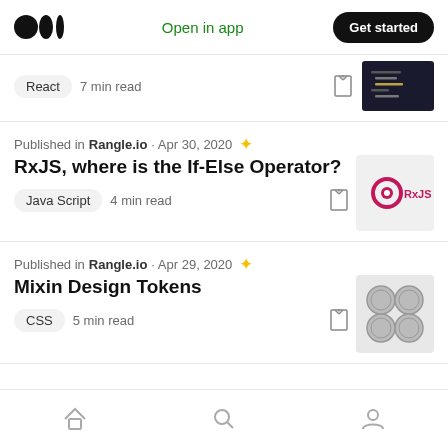Medium logo | Open in app | Get started
React  7 min read
Published in Rangle.io · Apr 30, 2020
RxJS, where is the If-Else Operator?
Java Script  4 min read
Published in Rangle.io · Apr 29, 2020
Mixin Design Tokens
CSS  5 min read
Home | Search | Profile